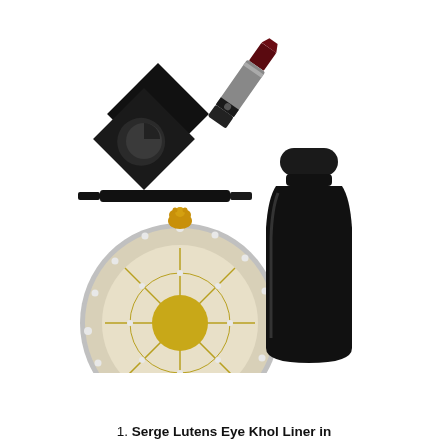[Figure (photo): Beauty product flatlay showing: a black square compact with gel eyeliner and lid, a black eyeliner pencil, a dark red/burgundy lipstick, an ornate silver and gold circular compact with crystals and a bear clasp, and a tall black cylindrical bottle/container.]
1. Serge Lutens Eye Khol Liner in